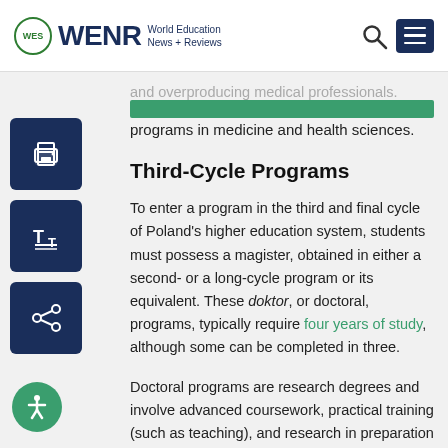WENR World Education News + Reviews
and overproducing medical professionals. Only university-type institutions can offer programs in medicine and health sciences.
Third-Cycle Programs
To enter a program in the third and final cycle of Poland's higher education system, students must possess a magister, obtained in either a second- or a long-cycle program or its equivalent. These doktor, or doctoral, programs, typically require four years of study, although some can be completed in three.
Doctoral programs are research degrees and involve advanced coursework, practical training (such as teaching), and research in preparation for the submission